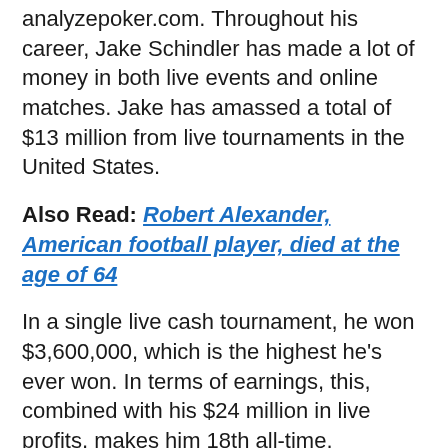analyzepoker.com. Throughout his career, Jake Schindler has made a lot of money in both live events and online matches. Jake has amassed a total of $13 million from live tournaments in the United States.
Also Read: Robert Alexander, American football player, died at the age of 64
In a single live cash tournament, he won $3,600,000, which is the highest he’s ever won. In terms of earnings, this, combined with his $24 million in live profits, makes him 18th all-time.
Everything about